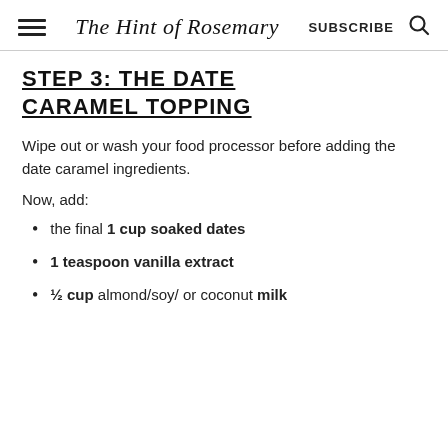The Hint of Rosemary | SUBSCRIBE
STEP 3: THE DATE CARAMEL TOPPING
Wipe out or wash your food processor before adding the date caramel ingredients.
Now, add:
the final 1 cup soaked dates
1 teaspoon vanilla extract
½ cup almond/soy/ or coconut milk